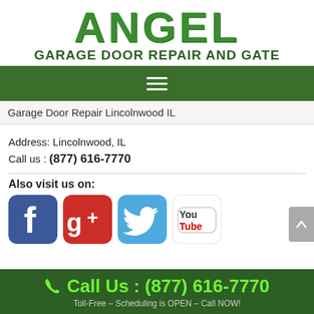ANGEL GARAGE DOOR REPAIR AND GATE
[Figure (logo): Angel Garage Door Repair and Gate logo with large green ANGEL text and subtitle GARAGE DOOR REPAIR AND GATE]
[Figure (infographic): Green navigation bar with hamburger menu icon (three white horizontal lines)]
Garage Door Repair Lincolnwood IL
Address: Lincolnwood, IL
Call us : (877) 616-7770
Also visit us on:
[Figure (infographic): Social media icons: Facebook (blue f), Google+ (red G+), Twitter (blue bird), YouTube (You Tube logo)]
Call Us : (877) 616-7770
Toll-Free – Scheduling is OPEN – Call NOW!